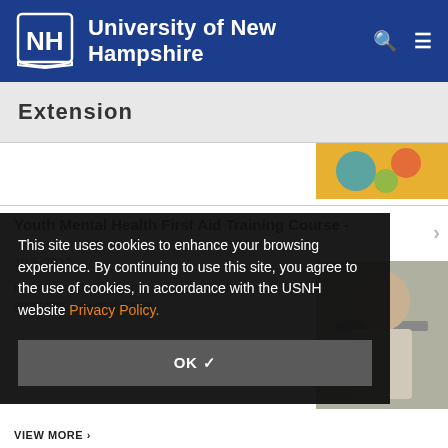University of New Hampshire
Extension
[Figure (photo): Thumbnail image with colorful art supplies or craft items]
Youth Mental Health First Aid Training Course -
10/5/2022
understand and respond to signs of mental health and substance use challenges.
[Figure (photo): Photo of a person lying down or stretching, exercise or wellness related]
VIEW MORE »
This site uses cookies to enhance your browsing experience. By continuing to use this site, you agree to the use of cookies, in accordance with the USNH website Privacy Policy.